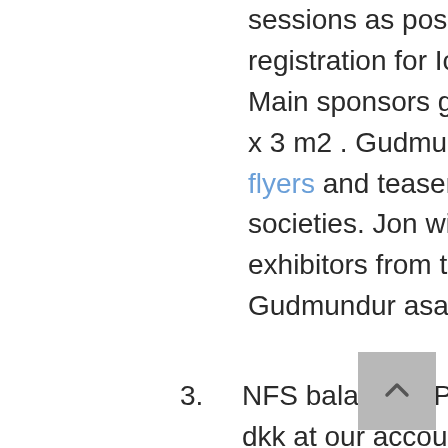sessions as possible. Deadline for early bird registration for Iceland is April 30th, 2015. Main sponsors get 2 x 4 m2 and exhibitors 2 x 3 m2 . Gudmundur and Snorri will send flyers and teasers through the four national societies. Jon will send an e-mail list of all exhibitors from the congress in Haugesund to Gudmundur asap.
3. NFS balances. Pr. 31.12.2014: 1.975.194,07 dkk at our account. Expenses last year for board meetings: 91.534,58 dkk and nurse meeting : 63.065,62 dkk.
4. NFS Nurse/midwife course in November 2014. Anja informed about the evaluatons of the meeting, which were overall very positive as 80-90 % of the